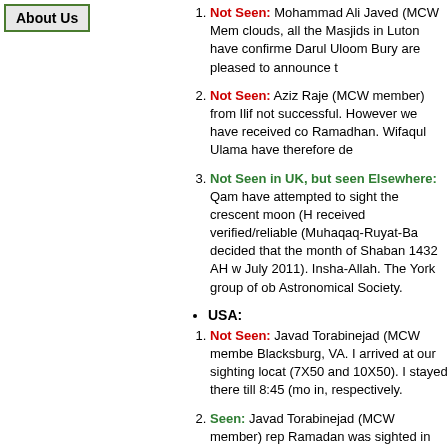About Us
Not Seen: Mohammad Ali Javed (MCW Member) clouds, all the Masjids in Luton have confirmed. Darul Uloom Bury are pleased to announce t
Not Seen: Aziz Raje (MCW member) from Ilif not successful. However we have received c Ramadhan. Wifaqul Ulama have therefore de
Not Seen in UK, but seen Elsewhere: Qam have attempted to sight the crescent moon (H received verified/reliable (Muhaqaq-Ruyat-Ba decided that the month of Shaban 1432 AH v July 2011). Insha-Allah. The York group of ob Astronomical Society.
USA:
Not Seen: Javad Torabinejad (MCW membe Blacksburg, VA. I arrived at our sighting locat (7X50 and 10X50). I stayed there till 8:45 (m in, respectively.
Seen: Javad Torabinejad (MCW member) rep Ramadan was sighted in Loma Linda, CA (La pm (sunset: 7:50 pm PDT). The western hori 8:09, using the same pair of binoculars). The by naked eye, however. At 7:50 pm, the temp
Not Seen: Qazi Azam (MCW member) from was at 8:28pm. there were 18 minutes to obs five times. We went to Fort Nathan Hale Park